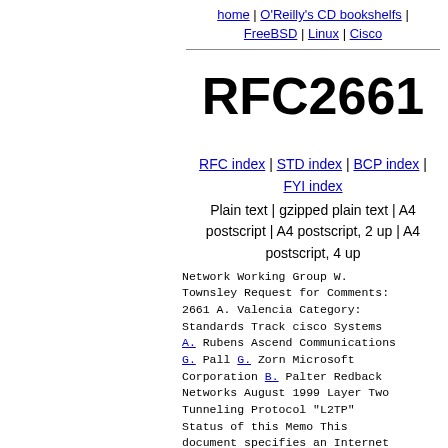home | O'Reilly's CD bookshelfs | FreeBSD | Linux | Cisco
RFC2661
RFC index | STD index | BCP index | FYI index
Plain text | gzipped plain text | A4 postscript | A4 postscript, 2 up | A4 postscript, 4 up
Network Working Group W. Townsley Request for Comments: 2661 A. Valencia Category: Standards Track cisco Systems A. Rubens Ascend Communications G. Pall G. Zorn Microsoft Corporation B. Palter Redback Networks August 1999 Layer Two Tunneling Protocol "L2TP" Status of this Memo This document specifies an Internet standards track protocol for